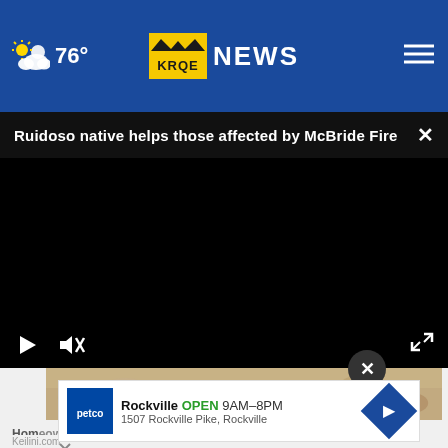76° KRQE NEWS
Ruidoso native helps those affected by McBride Fire ×
[Figure (screenshot): Black video player with play button, mute button, and fullscreen icon on dark controls bar]
[Figure (photo): Close-up of sandy/rocky stone texture]
Homeowners in Tradition: Their Possibilities for T...
Keilini.com
[Figure (infographic): Advertisement: Petco - Rockville OPEN 9AM-8PM, 1507 Rockville Pike, Rockville]